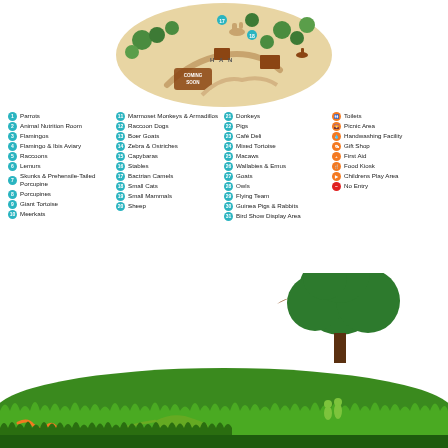[Figure (map): Zoo map top portion showing illustrated park layout with numbered locations, trees, paths, animals and a 'Coming Soon' area]
1 Parrots
2 Animal Nutrition Room
3 Flamingos
4 Flamingo & Ibis Aviary
5 Raccoons
6 Lemurs
7 Skunks & Prehensile-Tailed Porcupine
8 Porcupines
9 Giant Tortoise
10 Meerkats
11 Marmoset Monkeys & Armadillos
12 Raccoon Dogs
13 Boer Goats
14 Zebra & Ostriches
15 Capybaras
16 Stables
17 Bactrian Camels
18 Small Cats
19 Small Mammals
20 Sheep
21 Donkeys
22 Pigs
23 Café Deli
24 Mixed Tortoise
25 Macaws
26 Wallabies & Emus
27 Goats
28 Owls
29 Flying Team
30 Guinea Pigs & Rabbits
31 Bird Show Display Area
Toilets
Picnic Area
Handwashing Facility
Gift Shop
First Aid
Food Kiosk
Childrens Play Area
No Entry
[Figure (illustration): Decorative bottom scene with green grass, tree silhouette, flying bird, snake, lizard and animal silhouettes on green background]